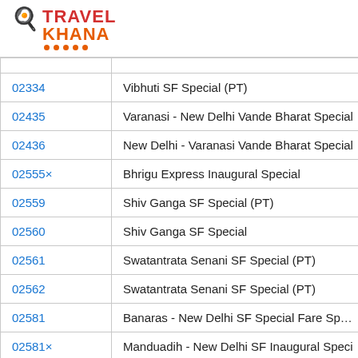[Figure (logo): TravelKhana logo with chef hat icon, red TRAVEL text, orange KHANA text, and orange dots underline]
| Train Number | Train Name |
| --- | --- |
| 02334 | Vibhuti SF Special (PT) |
| 02435 | Varanasi - New Delhi Vande Bharat Special |
| 02436 | New Delhi - Varanasi Vande Bharat Special |
| 02555× | Bhrigu Express Inaugural Special |
| 02559 | Shiv Ganga SF Special (PT) |
| 02560 | Shiv Ganga SF Special |
| 02561 | Swatantrata Senani SF Special (PT) |
| 02562 | Swatantrata Senani SF Special (PT) |
| 02581 | Banaras - New Delhi SF Special Fare Speci |
| 02581× | Manduadih - New Delhi SF Inaugural Speci |